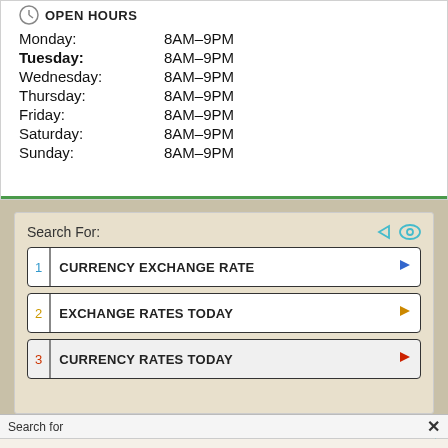OPEN HOURS
| Monday: | 8AM–9PM |
| Tuesday: | 8AM–9PM |
| Wednesday: | 8AM–9PM |
| Thursday: | 8AM–9PM |
| Friday: | 8AM–9PM |
| Saturday: | 8AM–9PM |
| Sunday: | 8AM–9PM |
Search For:
1 CURRENCY EXCHANGE RATE
2 EXCHANGE RATES TODAY
3 CURRENCY RATES TODAY
Search for
Best Currency Exchange Rates
See it >